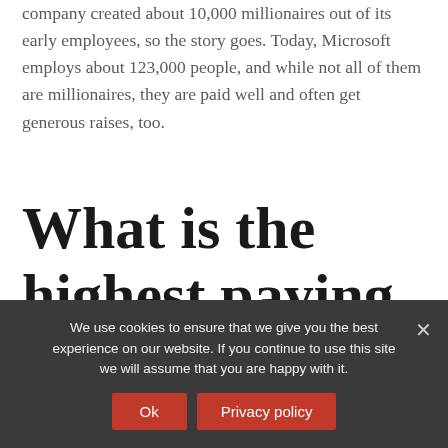company created about 10,000 millionaires out of its early employees, so the story goes. Today, Microsoft employs about 123,000 people, and while not all of them are millionaires, they are paid well and often get generous raises, too.
What is the highest paying job at Microsoft?
We use cookies to ensure that we give you the best experience on our website. If you continue to use this site we will assume that you are happy with it.